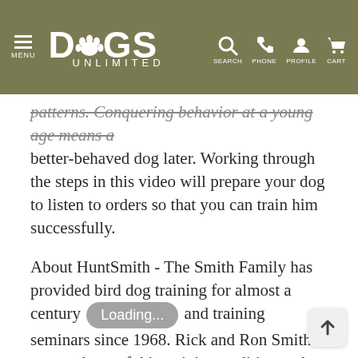MENU | DOGS UNLIMITED | SEARCH PHONE PROFILE CART
patterns. Conquering behavior at a young age means a better-behaved dog later. Working through the steps in this video will prepare your dog to listen to orders so that you can train him successfully.
About HuntSmith - The Smith Family has provided bird dog training for almost a century and training seminars since 1968. Rick and Ron Smith are products of this training tradition and bring to you a lifetime of knowledge and experience. Rick and Ron operate training kennels, guide quail hunts, train numerous National and International Champion Field Trial winners, produce training videos and teach seminars all over the world.
Puppy Development reviews six opportunities to gain your dog's willing acceptance of restrictions, which is necessary for training. This willing acceptance behavior